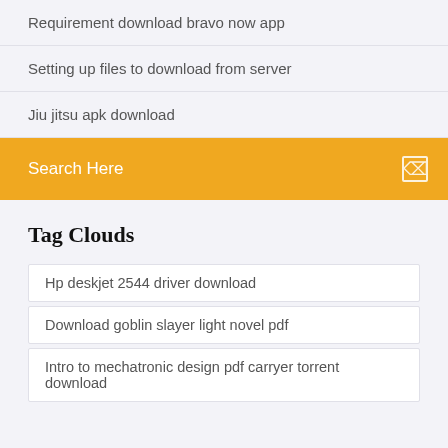Requirement download bravo now app
Setting up files to download from server
Jiu jitsu apk download
Search Here
Tag Clouds
Hp deskjet 2544 driver download
Download goblin slayer light novel pdf
Intro to mechatronic design pdf carryer torrent download